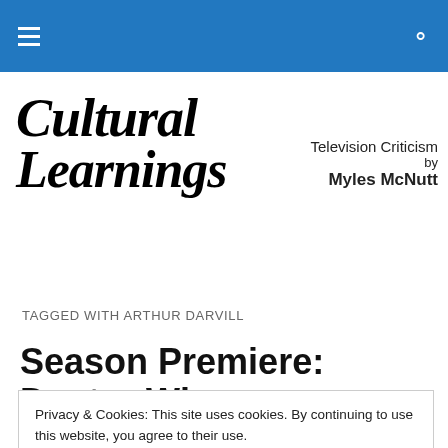Cultural Learnings – Navigation bar with hamburger menu and search icon
[Figure (logo): Cultural Learnings cursive/italic logo in black text]
Television Criticism by Myles McNutt
TAGGED WITH ARTHUR DARVILL
Season Premiere: Doctor Who
Privacy & Cookies: This site uses cookies. By continuing to use this website, you agree to their use.
To find out more, including how to control cookies, see here: Cookie Policy
[Close and accept]